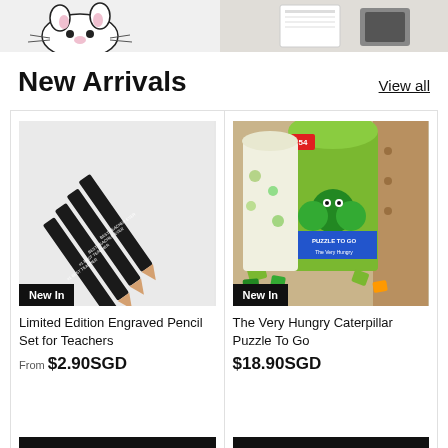[Figure (photo): Banner image showing cartoon cat character on white background with some stationery items on the right]
New Arrivals
View all
[Figure (photo): Limited Edition Engraved Pencil Set for Teachers - four black pencils with white text engraving on light background, with New In badge]
Limited Edition Engraved Pencil Set for Teachers
From $2.90SGD
Show options
[Figure (photo): The Very Hungry Caterpillar Puzzle To Go - green box puzzle with caterpillar illustration, puzzle pieces scattered on wooden surface, New In badge]
The Very Hungry Caterpillar Puzzle To Go
$18.90SGD
Add to cart